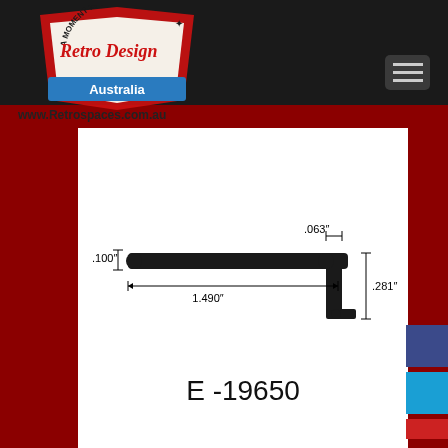[Figure (logo): Retro Design Australia logo — 'A Moment In Time' retro-style badge with cursive text on dark background]
www.Retrospaces.com.au
[Figure (engineering-diagram): Cross-section profile diagram of part E-19650. Shows a flat horizontal bar with a stepped-down right end. Dimensions labelled: .100" (height of left end), .063" (width of step at right), .281" (height of right stepped section), 1.490" (total length).]
E -19650
Product Information: